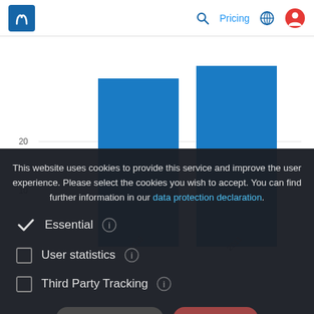Pricing
[Figure (bar-chart): Partially visible bar chart with two blue bars visible, y-axis showing value 20 and 10, x-axis showing years 2010 and 2011. Dark background bars partially visible.]
This website uses cookies to provide this service and improve the user experience. Please select the cookies you wish to accept. You can find further information in our data protection declaration.
Essential
User statistics
Third Party Tracking